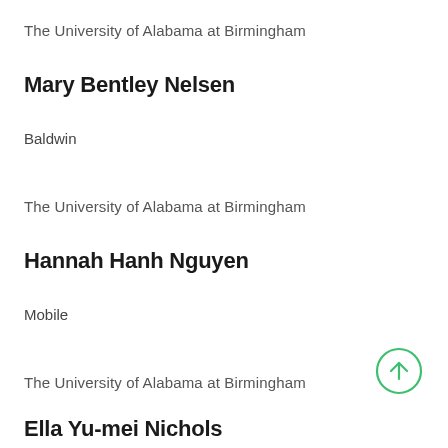The University of Alabama at Birmingham
Mary Bentley Nelsen
Baldwin
The University of Alabama at Birmingham
Hannah Hanh Nguyen
Mobile
The University of Alabama at Birmingham
Ella Yu-mei Nichols
Randolph